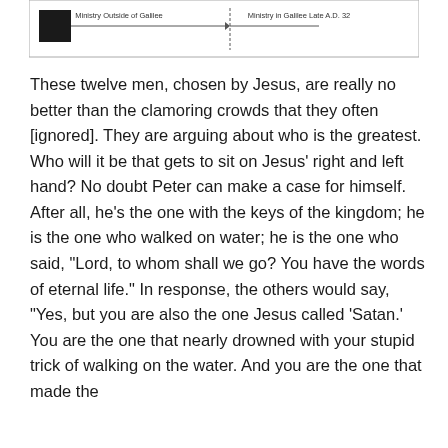[Figure (other): A timeline or diagram fragment showing 'Ministry Outside of Galilee' and 'Ministry in Galilee Late A.D. 32' with a small black rectangle (legend item) on the left.]
These twelve men, chosen by Jesus, are really no better than the clamoring crowds that they often [ignored]. They are arguing about who is the greatest. Who will it be that gets to sit on Jesus' right and left hand? No doubt Peter can make a case for himself. After all, he’s the one with the keys of the kingdom; he is the one who walked on water; he is the one who said, “Lord, to whom shall we go? You have the words of eternal life.” In response, the others would say, “Yes, but you are also the one Jesus called ‘Satan.’ You are the one that nearly drowned with your stupid trick of walking on the water. And you are the one that made the